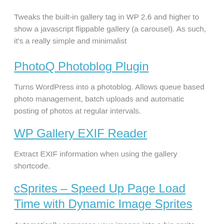Tweaks the built-in gallery tag in WP 2.6 and higher to show a javascript flippable gallery (a carousel). As such, it's a really simple and minimalist
PhotoQ Photoblog Plugin
Turns WordPress into a photoblog. Allows queue based photo management, batch uploads and automatic posting of photos at regular intervals.
WP Gallery EXIF Reader
Extract EXIF information when using the gallery shortcode.
cSprites – Speed Up Page Load Time with Dynamic Image Sprites
Automatically compress your images into a big sprite, decreasing web page load time. SEO features automatically